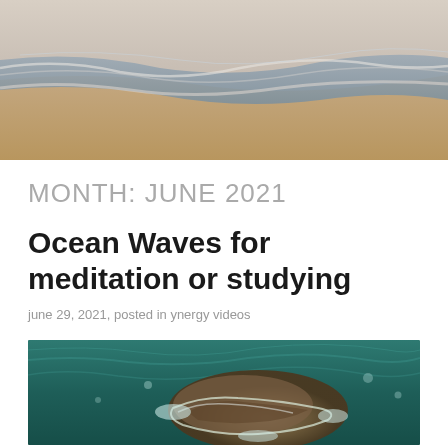[Figure (photo): Aerial view of ocean waves washing up on a sandy beach, warm light, wide panoramic shot]
MONTH: JUNE 2021
Ocean Waves for meditation or studying
june 29, 2021, posted in ynergy videos
[Figure (photo): Aerial view of a rocky island surrounded by turquoise ocean waves with white foam]